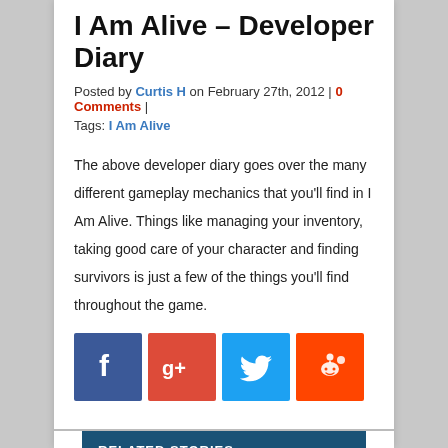I Am Alive – Developer Diary
Posted by Curtis H on February 27th, 2012 | 0 Comments |
Tags: I Am Alive
The above developer diary goes over the many different gameplay mechanics that you'll find in I Am Alive. Things like managing your inventory, taking good care of your character and finding survivors is just a few of the things you'll find throughout the game.
[Figure (other): Social media share icons: Facebook (blue), Google+ (red), Twitter (light blue), Reddit (orange)]
RELATED STORIES
[Figure (photo): Related story image showing a dark silhouetted figure against a sky background]